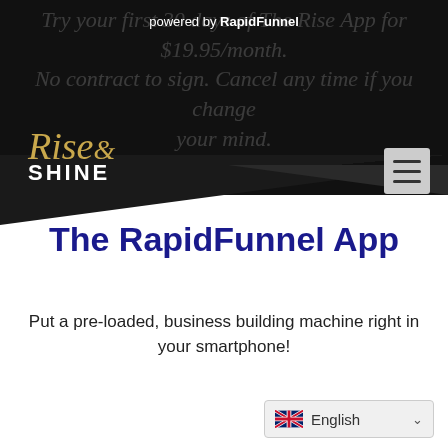powered by RapidFunnel
Try your first 30 days of The Rise App for $19.95/month. No contract to sign. Cancel any time if you change your mind.
[Figure (logo): Rise & Shine logo in gold/white on dark background]
The RapidFunnel App
Put a pre-loaded, business building machine right in your smartphone!
English